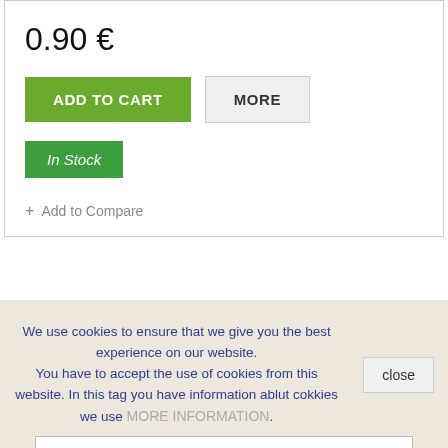0.90 €
ADD TO CART
MORE
In Stock
+ Add to Compare
We use cookies to ensure that we give you the best experience on our website. You have to accept the use of cookies from this website. In this tag you have information ablut cokkies we use MORE INFORMATION.
close